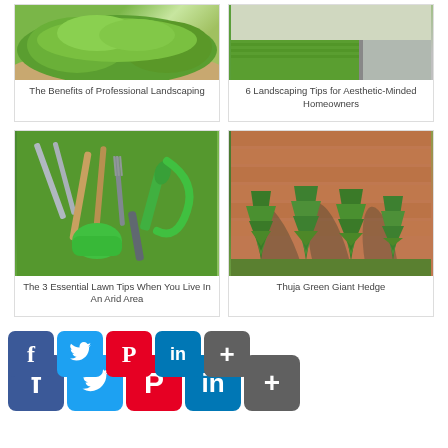[Figure (photo): Green shrubs and stone edging in a professional landscaping setup]
The Benefits of Professional Landscaping
[Figure (photo): Artificial turf driveway with green grass and concrete path]
6 Landscaping Tips for Aesthetic-Minded Homeowners
[Figure (photo): Gardening tools laid on green grass including shears, trowels, hose, gloves]
The 3 Essential Lawn Tips When You Live In An Arid Area
[Figure (photo): Tall Thuja Green Giant hedge trees against a brick wall]
Thuja Green Giant Hedge
[Figure (infographic): Social media sharing icons: Facebook, Twitter, Pinterest, LinkedIn, More (two rows, shadow effect)]